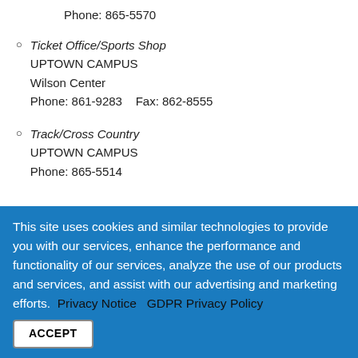Phone: 865-5570
Ticket Office/Sports Shop
UPTOWN CAMPUS
Wilson Center
Phone: 861-9283    Fax: 862-8555
Track/Cross Country
UPTOWN CAMPUS
Phone: 865-5514
This site uses cookies and similar technologies to provide you with our services, enhance the performance and functionality of our services, analyze the use of our products and services, and assist with our advertising and marketing efforts.  Privacy Notice   GDPR Privacy Policy